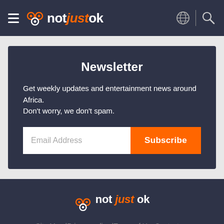notjustok — navigation header with hamburger menu, globe icon, and search icon
Newsletter
Get weekly updates and entertainment news around Africa. Don't worry, we don't spam.
Email Address | Subscribe
[Figure (logo): notjustok logo in footer]
Site Map |Privacy policy |Terms of UseContact us